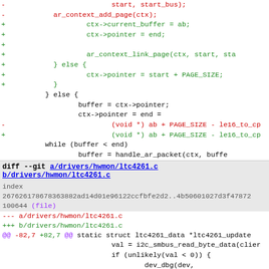[Figure (screenshot): Git diff code patch showing changes to Linux kernel drivers: ar_packet handler and ltc4261 hwmon driver. Red lines show removed code, green lines show added code. Two diff hunks visible.]